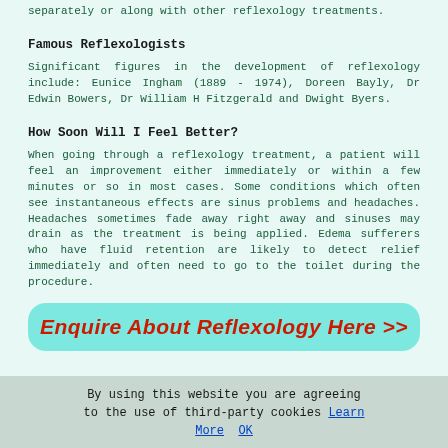separately or along with other reflexology treatments.
Famous Reflexologists
Significant figures in the development of reflexology include: Eunice Ingham (1889 - 1974), Doreen Bayly, Dr Edwin Bowers, Dr William H Fitzgerald and Dwight Byers.
How Soon Will I Feel Better?
When going through a reflexology treatment, a patient will feel an improvement either immediately or within a few minutes or so in most cases. Some conditions which often see instantaneous effects are sinus problems and headaches. Headaches sometimes fade away right away and sinuses may drain as the treatment is being applied. Edema sufferers who have fluid retention are likely to detect relief immediately and often need to go to the toilet during the procedure.
[Figure (other): Cyan rounded button with red bold italic text: Enquire About Reflexology Here >>]
By using this website you are agreeing to the use of third-party cookies Learn More OK